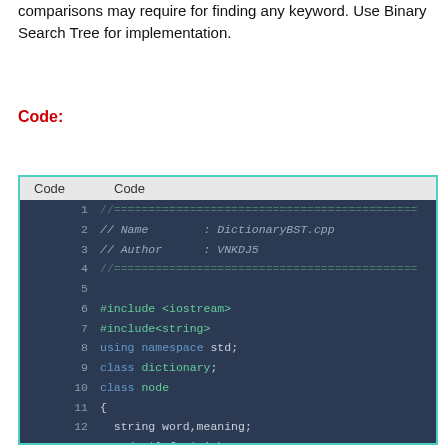comparisons may require for finding any keyword. Use Binary Search Tree for implementation.
Code:
[Figure (screenshot): Code editor screenshot showing C++ source code for DictionaryBST.cpp. Lines 1-15 visible: file header comments, includes, using namespace std, class forward declarations for dictionary and node, node class body with string word/meaning, node *left/*right, public: friend class dictionary.]